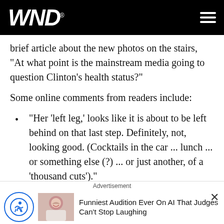WND
brief article about the new photos on the stairs, "At what point is the mainstream media going to question Clinton's health status?"
Some online comments from readers include:
"Her 'left leg,' looks like it is about to be left behind on that last step. Definitely, not, looking good. (Cocktails in the car ... lunch ... or something else (?) ... or just another, of a 'thousand cuts')."
"Can't walk, needs assistance, can't think, often confused. can't see. has double vision. wears long
[Figure (screenshot): Advertisement bar at bottom: accessibility icon, photo of woman, and text 'Funniest Audition Ever On AI That Judges Can't Stop Laughing']